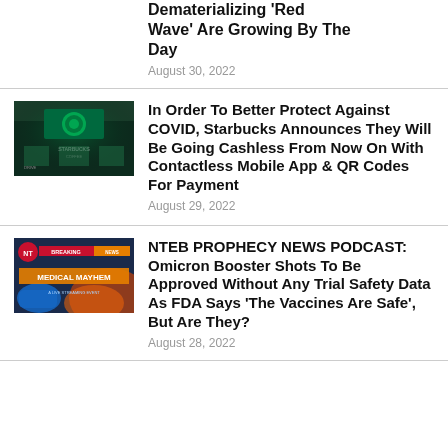Dematerializing 'Red Wave' Are Growing By The Day
August 30, 2022
[Figure (photo): Starbucks storefront at night with green lighting]
In Order To Better Protect Against COVID, Starbucks Announces They Will Be Going Cashless From Now On With Contactless Mobile App & QR Codes For Payment
August 29, 2022
[Figure (screenshot): NTEB Breaking News Medical Mayhem graphic with blue gloved hands]
NTEB PROPHECY NEWS PODCAST: Omicron Booster Shots To Be Approved Without Any Trial Safety Data As FDA Says ‘The Vaccines Are Safe’, But Are They?
August 28, 2022